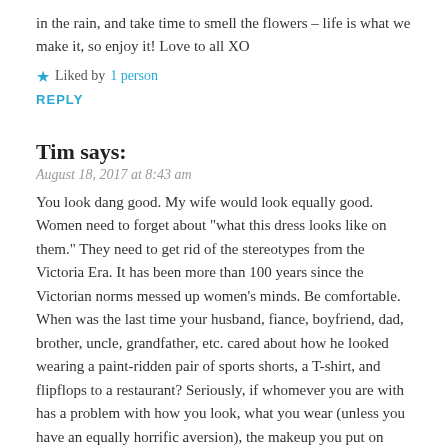in the rain, and take time to smell the flowers – life is what we make it, so enjoy it! Love to all XO
★ Liked by 1 person
REPLY
Tim says:
August 18, 2017 at 8:43 am
You look dang good. My wife would look equally good. Women need to forget about "what this dress looks like on them." They need to get rid of the stereotypes from the Victoria Era. It has been more than 100 years since the Victorian norms messed up women's minds. Be comfortable. When was the last time your husband, fiance, boyfriend, dad, brother, uncle, grandfather, etc. cared about how he looked wearing a paint-ridden pair of sports shorts, a T-shirt, and flipflops to a restaurant? Seriously, if whomever you are with has a problem with how you look, what you wear (unless you have an equally horrific aversion), the makeup you put on (heck, why do you need a mask anyway?) that whomever is not worth your time. Send him an email